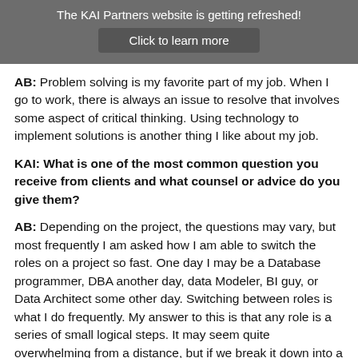The KAI Partners website is getting refreshed! Click to learn more
AB: Problem solving is my favorite part of my job. When I go to work, there is always an issue to resolve that involves some aspect of critical thinking. Using technology to implement solutions is another thing I like about my job.
KAI: What is one of the most common question you receive from clients and what counsel or advice do you give them?
AB: Depending on the project, the questions may vary, but most frequently I am asked how I am able to switch the roles on a project so fast. One day I may be a Database programmer, DBA another day, data Modeler, BI guy, or Data Architect some other day. Switching between roles is what I do frequently. My answer to this is that any role is a series of small logical steps. It may seem quite overwhelming from a distance, but if we break it down into a series of logical steps it is doable. This discipline they...